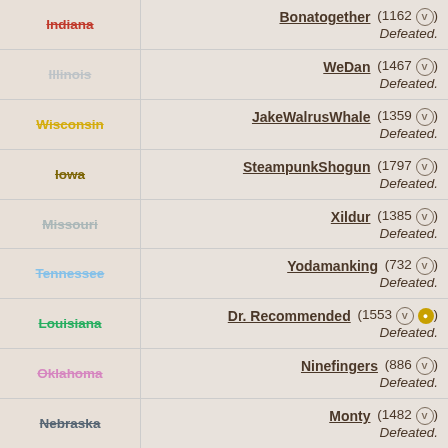Indiana — Bonatogether (1162) Defeated.
Illinois — WeDan (1467) Defeated.
Wisconsin — JakeWalrusWhale (1359) Defeated.
Iowa — SteampunkShogun (1797) Defeated.
Missouri — Xildur (1385) Defeated.
Tennessee — Yodamanking (732) Defeated.
Louisiana — Dr. Recommended (1553) Defeated.
Oklahoma — Ninefingers (886) Defeated.
Nebraska — Monty (1482) Defeated.